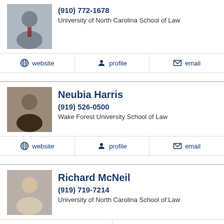[Figure (photo): Headshot of male attorney in suit and tie]
(910) 772-1678
University of North Carolina School of Law
website | profile | email
Neubia Harris
[Figure (photo): Headshot of female attorney]
(919) 526-0500
Wake Forest University School of Law
website | profile | email
Richard McNeil
[Figure (photo): Headshot of male attorney smiling]
(919) 719-7214
University of North Carolina School of Law
website | profile